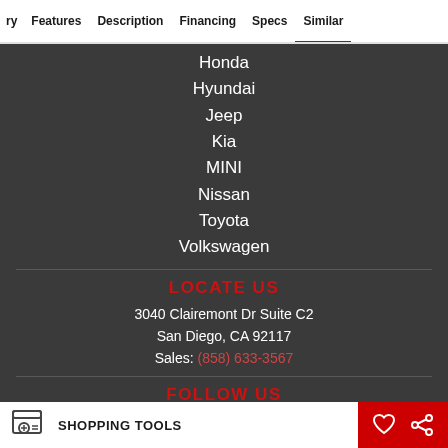ry  Features  Description  Financing  Specs  Similar
Honda
Hyundai
Jeep
Kia
MINI
Nissan
Toyota
Volkswagen
LOCATE US
3040 Clairemont Dr Suite C2
San Diego, CA 92117
Sales: (858) 633-3567
FOLLOW US
SHOPPING TOOLS